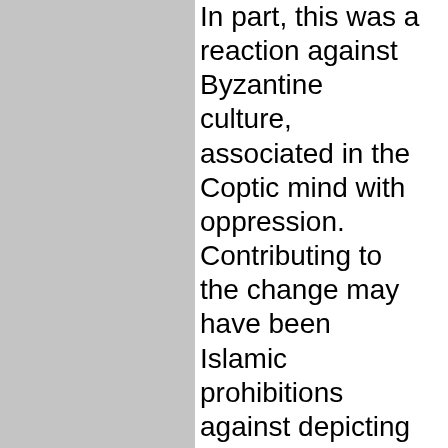[Figure (other): Gray rectangular panel on the left side of the page]
In part, this was a reaction against Byzantine culture, associated in the Coptic mind with oppression. Contributing to the change may have been Islamic prohibitions against depicting human and animal figures. Such figures when they appear in Coptic textiles of the later periods become increasingly abstract to the point of being